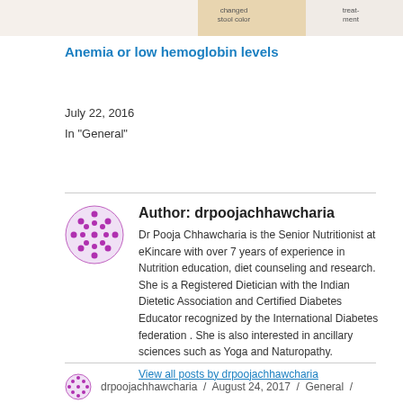[Figure (illustration): Top portion of a medical/digestive illustration showing changed stool color and treatment labels, cropped at top of page]
Anemia or low hemoglobin levels
July 22, 2016
In "General"
[Figure (photo): Author avatar - purple/magenta decorative circular icon with geometric dot pattern]
Author: drpoojachhawcharia
Dr Pooja Chhawcharia is the Senior Nutritionist at eKincare with over 7 years of experience in Nutrition education, diet counseling and research. She is a Registered Dietician with the Indian Dietetic Association and Certified Diabetes Educator recognized by the International Diabetes federation . She is also interested in ancillary sciences such as Yoga and Naturopathy.
View all posts by drpoojachhawcharia
[Figure (photo): Small author avatar at bottom - purple/magenta decorative circular icon with geometric dot pattern]
drpoojachhawcharia / August 24, 2017 / General /